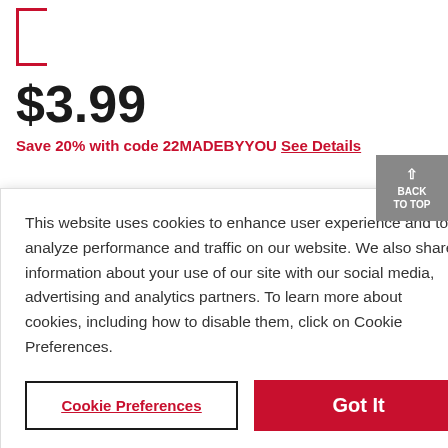[Figure (other): Red left-bracket icon, possibly a product image placeholder]
$3.99
Save 20% with code 22MADEBYYOU See Details
BACK TO TOP button with upward arrow
This website uses cookies to enhance user experience and to analyze performance and traffic on our website. We also share information about your use of our site with our social media, advertising and analytics partners. To learn more about cookies, including how to disable them, click on Cookie Preferences.
Cookie Preferences
Got It
Same Day Delivery $9.99
Get it delivered today if ordered by 2:00PM.